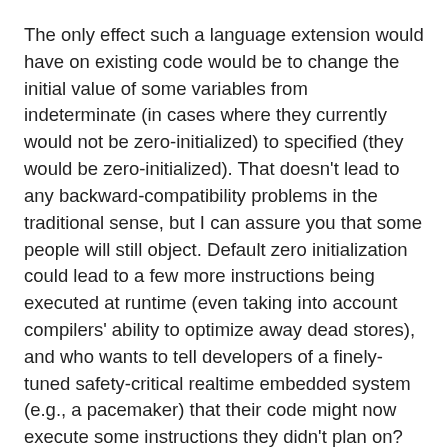The only effect such a language extension would have on existing code would be to change the initial value of some variables from indeterminate (in cases where they currently would not be zero-initialized) to specified (they would be zero-initialized). That doesn't lead to any backward-compatibility problems in the traditional sense, but I can assure you that some people will still object. Default zero initialization could lead to a few more instructions being executed at runtime (even taking into account compilers' ability to optimize away dead stores), and who wants to tell developers of a finely-tuned safety-critical realtime embedded system (e.g., a pacemaker) that their code might now execute some instructions they didn't plan on?
I do. Break those eggs!
This does not make me a crazy man. Keep reading.
std::list::remove and std::forward_list::remove
Ten standard containers offer a member function that eliminates all elements with a specified value (or, for map containers, a specified key): list, forward_list, set, multiset,